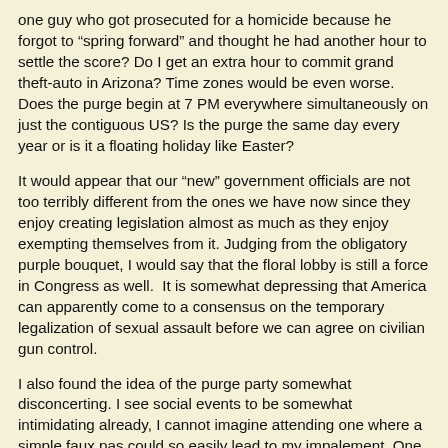one guy who got prosecuted for a homicide because he forgot to “spring forward” and thought he had another hour to settle the score? Do I get an extra hour to commit grand theft-auto in Arizona? Time zones would be even worse. Does the purge begin at 7 PM everywhere simultaneously on just the contiguous US? Is the purge the same day every year or is it a floating holiday like Easter?
It would appear that our “new” government officials are not too terribly different from the ones we have now since they enjoy creating legislation almost as much as they enjoy exempting themselves from it. Judging from the obligatory purple bouquet, I would say that the floral lobby is still a force in Congress as well.  It is somewhat depressing that America can apparently come to a consensus on the temporary legalization of sexual assault before we can agree on civilian gun control.
I also found the idea of the purge party somewhat disconcerting. I see social events to be somewhat intimidating already, I cannot imagine attending one where a simple faux pas could so easily lead to my impalement. One